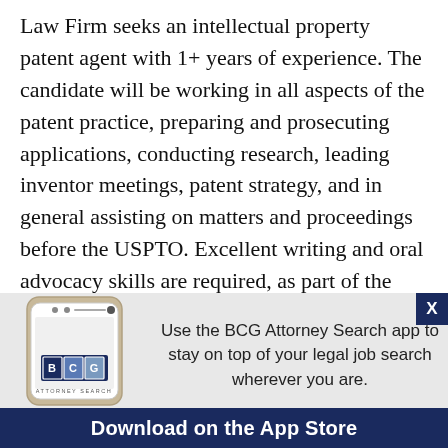Law Firm seeks an intellectual property patent agent with 1+ years of experience. The candidate will be working in all aspects of the patent practice, preparing and prosecuting applications, conducting research, leading inventor meetings, patent strategy, and in general assisting on matters and proceedings before the USPTO. Excellent writing and oral advocacy skills are required, as part of the responsibilities also include personal interviews before USPTO examiners and appearances before the Board of Appeals. Must have a Ph.D. in Biology.
[Figure (screenshot): BCG Attorney Search app advertisement banner with phone image, text 'Use the BCG Attorney Search app to stay on top of your legal job search wherever you are.' and 'Download on the App Store' button]